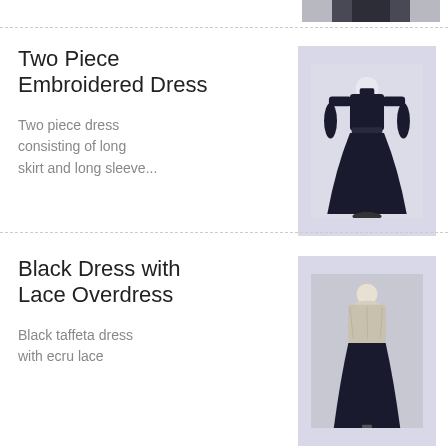[Figure (photo): Partial view of a garment on a mannequin, cropped at top of page]
Two Piece Embroidered Dress
Two piece dress consisting of long skirt and long sleeve...
[Figure (photo): Full-length dark navy two-piece embroidered dress on a mannequin stand against a light lavender background]
Black Dress with Lace Overdress
Black taffeta dress with ecru lace...
[Figure (photo): Black dress with lace overdress on a mannequin, partially visible at bottom of page]